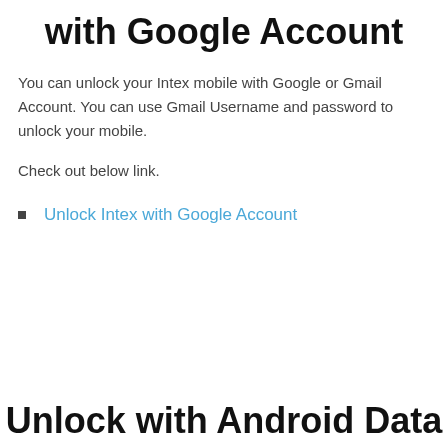with Google Account
You can unlock your Intex mobile with Google or Gmail Account. You can use Gmail Username and password to unlock your mobile.
Check out below link.
Unlock Intex with Google Account
Unlock with Android Data